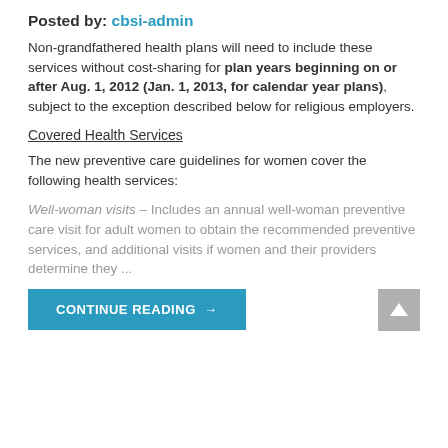Posted by: cbsi-admin
Non-grandfathered health plans will need to include these services without cost-sharing for plan years beginning on or after Aug. 1, 2012 (Jan. 1, 2013, for calendar year plans), subject to the exception described below for religious employers.
Covered Health Services
The new preventive care guidelines for women cover the following health services:
Well-woman visits – Includes an annual well-woman preventive care visit for adult women to obtain the recommended preventive services, and additional visits if women and their providers determine they ...
CONTINUE READING →